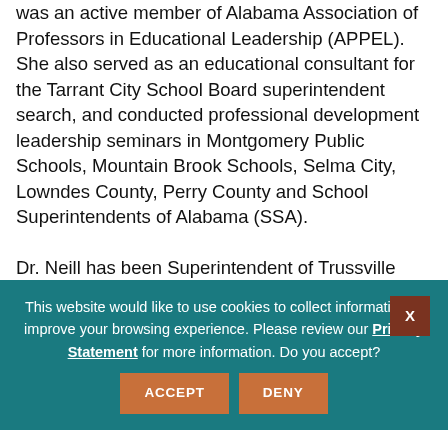was an active member of Alabama Association of Professors in Educational Leadership (APPEL). She also served as an educational consultant for the Tarrant City School Board superintendent search, and conducted professional development leadership seminars in Montgomery Public Schools, Mountain Brook Schools, Selma City, Lowndes County, Perry County and School Superintendents of Alabama (SSA).
Dr. Neill has been Superintendent of Trussville City Schools since 2012 and she has worked with the school board to...
This website would like to use cookies to collect information to improve your browsing experience. Please review our Privacy Statement for more information. Do you accept? ACCEPT DENY